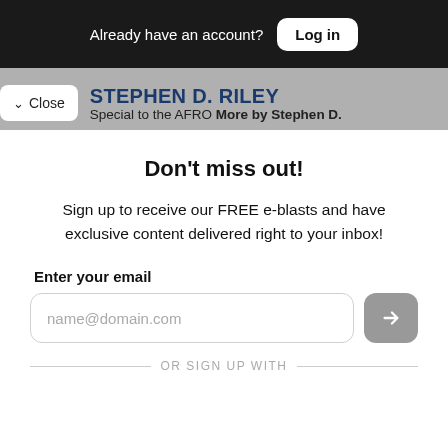Already have an account? Log in
STEPHEN D. RILEY  Special to the AFRO More by Stephen D.
Don't miss out!
Sign up to receive our FREE e-blasts and have exclusive content delivered right to your inbox!
Enter your email
name@domain.com
OR SIGN UP WITH